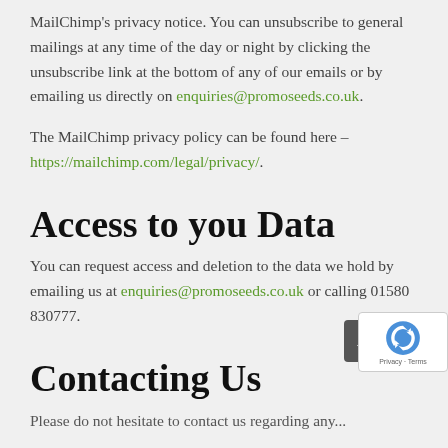MailChimp's privacy notice. You can unsubscribe to general mailings at any time of the day or night by clicking the unsubscribe link at the bottom of any of our emails or by emailing us directly on enquiries@promoseeds.co.uk.
The MailChimp privacy policy can be found here – https://mailchimp.com/legal/privacy/.
Access to you Data
You can request access and deletion to the data we hold by emailing us at enquiries@promoseeds.co.uk or calling 01580 830777.
Contacting Us
Please do not hesitate to contact us regarding any...